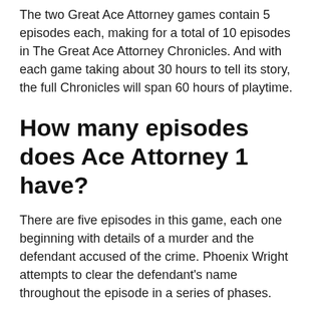The two Great Ace Attorney games contain 5 episodes each, making for a total of 10 episodes in The Great Ace Attorney Chronicles. And with each game taking about 30 hours to tell its story, the full Chronicles will span 60 hours of playtime.
How many episodes does Ace Attorney 1 have?
There are five episodes in this game, each one beginning with details of a murder and the defendant accused of the crime. Phoenix Wright attempts to clear the defendant's name throughout the episode in a series of phases.